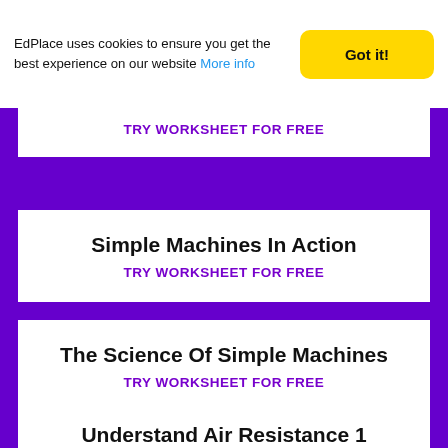EdPlace uses cookies to ensure you get the best experience on our website More info
Got it!
TRY WORKSHEET FOR FREE
Simple Machines In Action
TRY WORKSHEET FOR FREE
The Science Of Simple Machines
TRY WORKSHEET FOR FREE
Understand Air Resistance 1